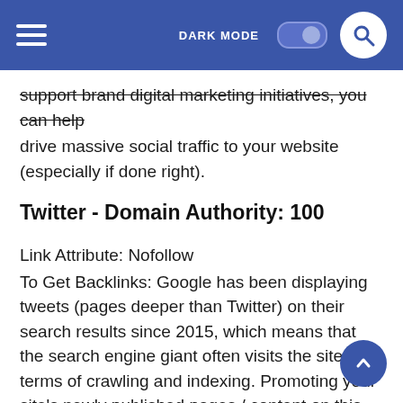DARK MODE [toggle] [search]
support brand digital marketing initiatives, you can help drive massive social traffic to your website (especially if done right).
Twitter - Domain Authority: 100
Link Attribute: Nofollow
To Get Backlinks: Google has been displaying tweets (pages deeper than Twitter) on their search results since 2015, which means that the search engine giant often visits the site in terms of crawling and indexing. Promoting your site's newly published pages / content on this social platform can help speed up their indexation (and generate traffic too, once you build a stronger follower base).